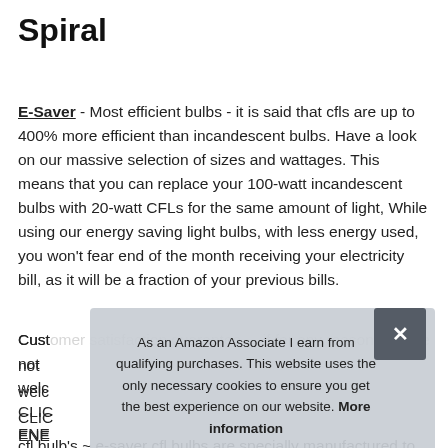Spiral
E-Saver - Most efficient bulbs - it is said that cfls are up to 400% more efficient than incandescent bulbs. Have a look on our massive selection of sizes and wattages. This means that you can replace your 100-watt incandescent bulbs with 20-watt CFLs for the same amount of light, While using our energy saving light bulbs, with less energy used, you won't fear end of the month receiving your electricity bill, as it will be a fraction of your previous bills.
Customer satisfaction guarantee - if for any reason you are not ... welcome ... CLICK ... ENERGY ...
As an Amazon Associate I earn from qualifying purchases. This website uses the only necessary cookies to ensure you get the best experience on our website. More information
cfl bulb's ~ e-saver cfl bulbs are specially manufactured to the